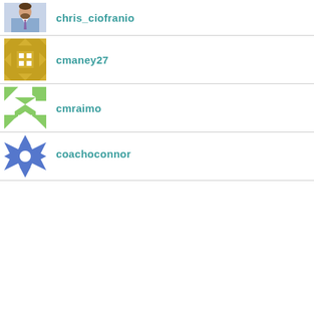[Figure (photo): Profile photo of chris_ciofranio, a bearded man in a blue shirt and striped tie]
chris_ciofranio
[Figure (illustration): Gravatar-style geometric quilt pattern in gold/yellow tones]
cmaney27
[Figure (illustration): Gravatar-style geometric quilt pattern in green tones]
cmraimo
[Figure (illustration): Gravatar-style geometric quilt pattern in blue tones]
coachoconnor